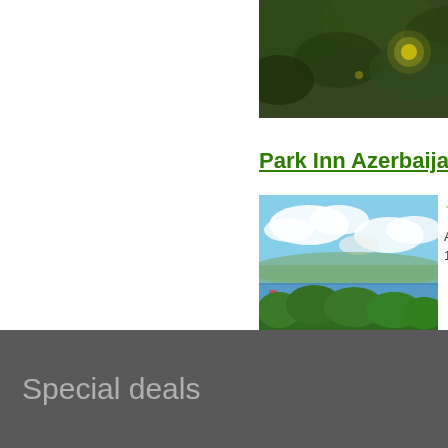[Figure (photo): Dark aerial photo showing tree canopy with yellow-green lights visible through foliage]
Park Inn Azerbaijan Hote
[Figure (photo): Aerial view of a coastal city with harbor, trees, and buildings under a blue sky with clouds]
Azerbaijan
1, Azadlig A
Special deals